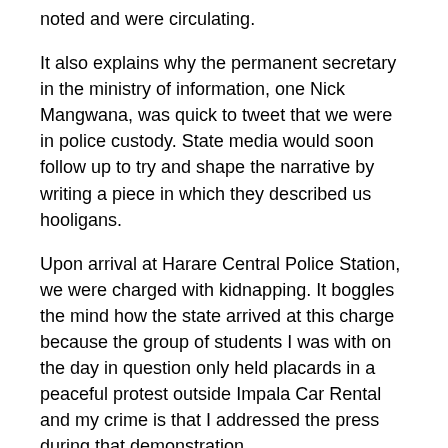noted and were circulating.
It also explains why the permanent secretary in the ministry of information, one Nick Mangwana, was quick to tweet that we were in police custody. State media would soon follow up to try and shape the narrative by writing a piece in which they described us hooligans.
Upon arrival at Harare Central Police Station, we were charged with kidnapping. It boggles the mind how the state arrived at this charge because the group of students I was with on the day in question only held placards in a peaceful protest outside Impala Car Rental and my crime is that I addressed the press during that demonstration.
Since July 2020, the state has been persecuting student leaders for demanding answers from Impala Car Rental. Besides Matete and myself, about 15 other student leaders have been arrested for the cause.